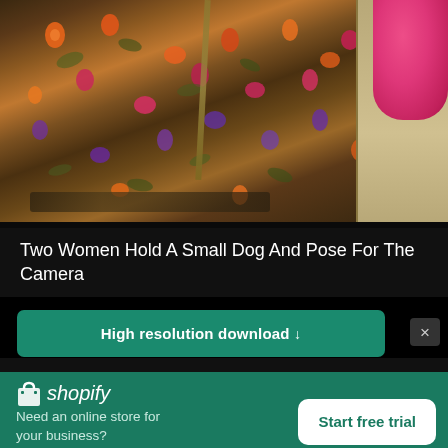[Figure (photo): Close-up photo of two women, one wearing a colorful floral dress and the other in khaki shorts holding a pink fluffy object, cropped to show their torsos/waists]
Two Women Hold A Small Dog And Pose For The Camera
High resolution download ↓
[Figure (logo): Shopify logo with shopping bag icon and italic shopify text]
Need an online store for your business?
Start free trial